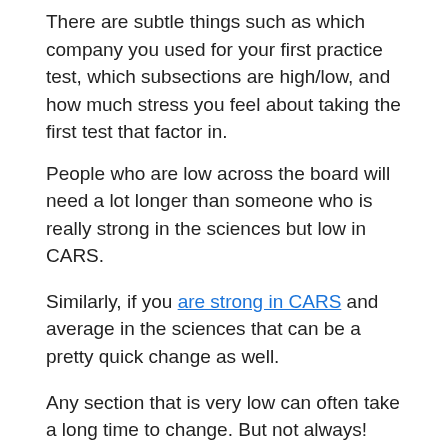There are subtle things such as which company you used for your first practice test, which subsections are high/low, and how much stress you feel about taking the first test that factor in.
People who are low across the board will need a lot longer than someone who is really strong in the sciences but low in CARS.
Similarly, if you are strong in CARS and average in the sciences that can be a pretty quick change as well.
Any section that is very low can often take a long time to change. But not always!
For example: